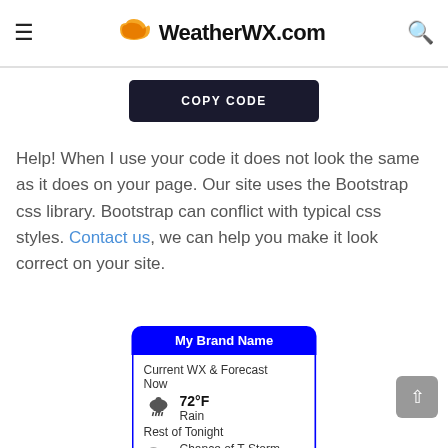WeatherWX.com
COPY CODE
Help! When I use your code it does not look the same as it does on your page. Our site uses the Bootstrap css library. Bootstrap can conflict with typical css styles. Contact us, we can help you make it look correct on your site.
[Figure (screenshot): Weather widget preview showing 'My Brand Name' header in blue, Current WX & Forecast section with 72°F Rain, Rest of Tonight with Chance of T-Storm Lo: 69°F, Tuesday with Chance of T-Storm Hi: 75°F, Tuesday Night label]